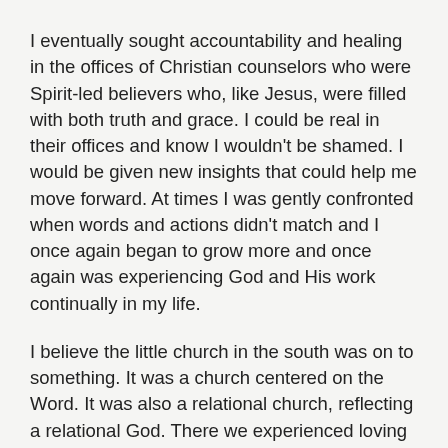I eventually sought accountability and healing in the offices of Christian counselors who were Spirit-led believers who, like Jesus, were filled with both truth and grace. I could be real in their offices and know I wouldn't be shamed. I would be given new insights that could help me move forward. At times I was gently confronted when words and actions didn't match and I once again began to grow more and once again was experiencing God and His work continually in my life.
I believe the little church in the south was on to something. It was a church centered on the Word. It was also a relational church, reflecting a relational God. There we experienced loving relationships and conversations that began to change the distortions I had about God and Christianity. There I experienced more growth because I not only spent a lot of time in the Word, I had conversations about what I was learning and discussed how to apply it to my life. I was surrounded by people who didn't shame me for experiencing postpartum depression, who didn't shame me for experiencing PTSD and fear after a break in, and who didn't "kick me" when I was down about sin or broken